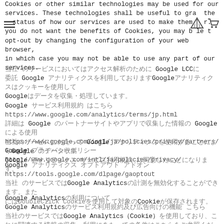Cookies or other similar technologies may be used for our services. These technologies shall be useful to grasp the status of how our services are used to make them better. If you do not want the benefits of Cookies, you may be able to opt-out by changing the configuration of your web browser, in which case you may not be able to use any part of our services.
当社 のサービスにおいてはアクセス解析のために Google LCCに委託 Google アナリティクスを利用しておりますGoogleアナリティクスはクッキーを使用してGoogleはデータを収集・処理しています。
Google サービス利用規約 はこちら
https://www.google.com/analytics/terms/jp.html
詳細は Google のパートナーサイトやアプリで収集した情報の Google による使用
https://www.google.com/intl/ja/policies/privacy/partners/
Google プライバシーポリシー
http://www.google.com/intl/ja/policies/privacy/
当社のサービスにわたって Google アナリティクスを使用することによりGoogle のデータ収集
Google アナリティクス サービス利用規約 に同意したことになります。
Google アナリティクス オプトアウト アドオン
https://tools.google.com/dlpage/gaoptout
当社 のサービスではGoogle Analyticsの計測を無効化することができます。また
にはDoubleClick Cookieを使用して対象のCookieが保存されます。
Google Analyticsの利用について
Google Analyticsのサービス利用規約及び広告向けの機能 こちら
当社のサービスではGoogle Analytics（Cookie）を使用しており、これに関連する情報の収集・利用にあたっての条件はこちらをご参照ください。